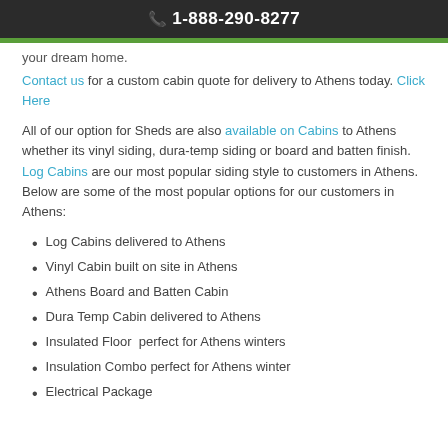1-888-290-8277
your dream home.
Contact us for a custom cabin quote for delivery to Athens today. Click Here
All of our option for Sheds are also available on Cabins to Athens whether its vinyl siding, dura-temp siding or board and batten finish. Log Cabins are our most popular siding style to customers in Athens. Below are some of the most popular options for our customers in Athens:
Log Cabins delivered to Athens
Vinyl Cabin built on site in Athens
Athens Board and Batten Cabin
Dura Temp Cabin delivered to Athens
Insulated Floor  perfect for Athens winters
Insulation Combo perfect for Athens winter
Electrical Package